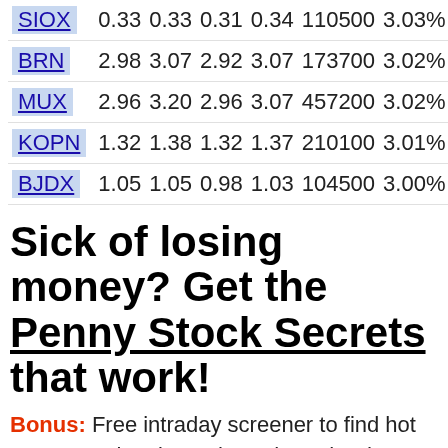| Ticker | Open | High | Low | Close | Volume | Change% |
| --- | --- | --- | --- | --- | --- | --- |
| SIOX | 0.33 | 0.33 | 0.31 | 0.34 | 110500 | 3.03% |
| BRN | 2.98 | 3.07 | 2.92 | 3.07 | 173700 | 3.02% |
| MUX | 2.96 | 3.20 | 2.96 | 3.07 | 457200 | 3.02% |
| KOPN | 1.32 | 1.38 | 1.32 | 1.37 | 210100 | 3.01% |
| BJDX | 1.05 | 1.05 | 0.98 | 1.03 | 104500 | 3.00% |
Sick of losing money? Get the Penny Stock Secrets that work!
Bonus: Free intraday screener to find hot penny stock gainers throughout the day.